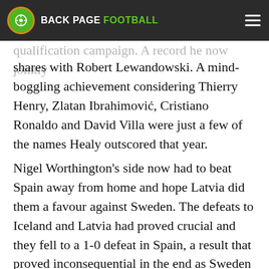BACK PAGE FOOTBALL
qualification campaign. A record he now jointly shares with Robert Lewandowski. A mind-boggling achievement considering Thierry Henry, Zlatan Ibrahimović, Cristiano Ronaldo and David Villa were just a few of the names Healy outscored that year.
Nigel Worthington's side now had to beat Spain away from home and hope Latvia did them a favour against Sweden. The defeats to Iceland and Latvia had proved crucial and they fell to a 1-0 defeat in Spain, a result that proved inconsequential in the end as Sweden beat Latvia 2-1. Sadly, it wasn't to be for the Ulstermen.